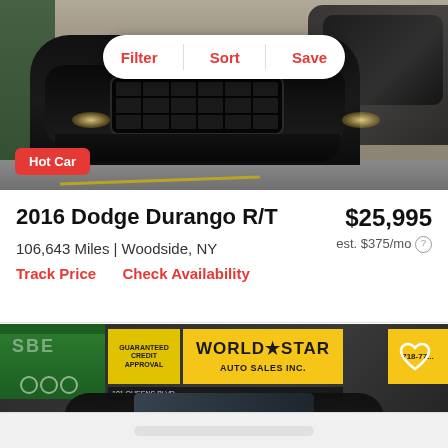[Figure (photo): Front view of a black 2016 Dodge Durango R/T SUV with a blacked-out grille and black wheels, parked at a dealer lot. A white pill-shaped toolbar with Filter, Sort, Save buttons is overlaid at the top center. A red 'Hot Car' badge is in the lower-left corner.]
2016 Dodge Durango R/T
$25,995
106,643 Miles | Woodside, NY
est. $375/mo
Track Price   Check Availability
[Figure (photo): World Star Auto Sales Inc. dealer storefront with yellow signage, green awning, and a Dodge vehicle partially visible. A heart/favorite icon is in the upper-right corner.]